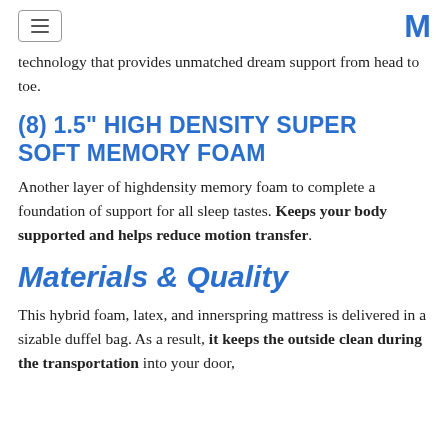[menu icon] [M logo]
technology that provides unmatched dream support from head to toe.
(8) 1.5" HIGH DENSITY SUPER SOFT MEMORY FOAM
Another layer of highdensity memory foam to complete a foundation of support for all sleep tastes. Keeps your body supported and helps reduce motion transfer.
Materials & Quality
This hybrid foam, latex, and innerspring mattress is delivered in a sizable duffel bag. As a result, it keeps the outside clean during the transportation into your door,